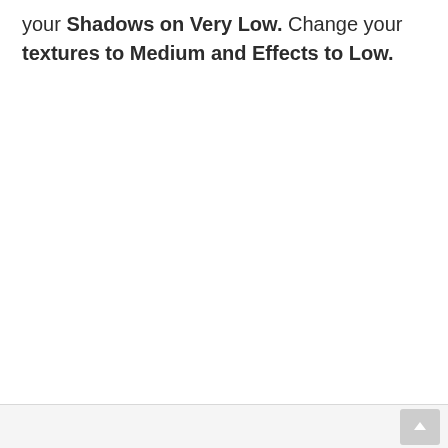your Shadows on Very Low. Change your textures to Medium and Effects to Low.